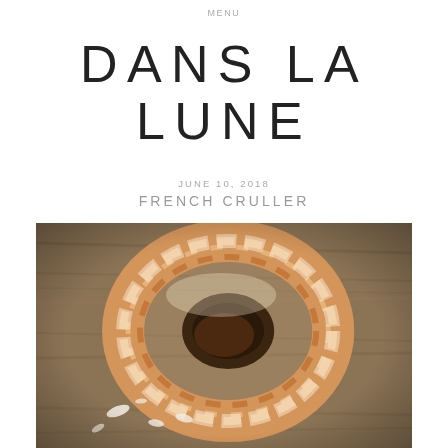MENU
DANS LA LUNE
JUNE 10, 2018
FRENCH CRULLER
[Figure (photo): Top-down view of a glazed French cruller donut on a wooden surface, with sugar glaze pieces scattered nearby]